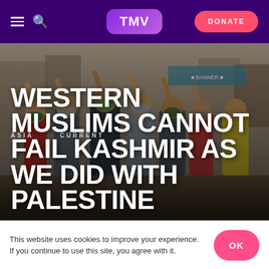TMV — DONATE
[Figure (photo): Group of masked protesters with raised fists in a street scene, Kashmir protest photo used as hero image background]
ASIA   CURRENT
WESTERN MUSLIMS CANNOT FAIL KASHMIR AS WE DID WITH PALESTINE
This website uses cookies to improve your experience. If you continue to use this site, you agree with it.